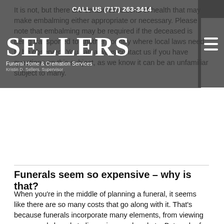CALL US (717) 263-3414
[Figure (logo): Sellers Funeral Home & Cremation Services logo with text 'Sellers', 'Funeral Home & Cremation Services', 'Kristin D. Sellers, Supervisor']
It is not, but there are certain conditions of health that may make embalming either appropriate or necessary. Please note that embalming may be required if the deceased is being transported to another country where local laws need to be observed. You can always contact us if you have questions on this subject, as we know it can be an unfamiliar subject to many.
Funerals seem so expensive - why is that?
When you're in the middle of planning a funeral, it seems like there are so many costs that go along with it. That's because funerals incorporate many elements, from viewing rooms and chapels to limousines and caskets. But each of these elements help ensure that every detail is perfect, and there are options available for every preference and budget. We can help you decide what options are right for you.